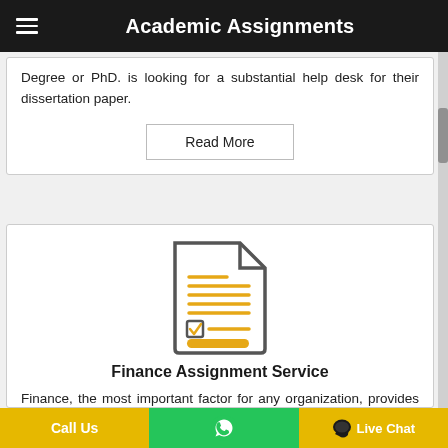Academic Assignments
Degree or PhD. is looking for a substantial help desk for their dissertation paper.
Read More
[Figure (illustration): Document/assignment icon with orange lines and a checkbox, gray outline, representing a finance assignment service]
Finance Assignment Service
Finance, the most important factor for any organization, provides the highest degree of trouble to the students in
Call Us | WhatsApp | Live Chat